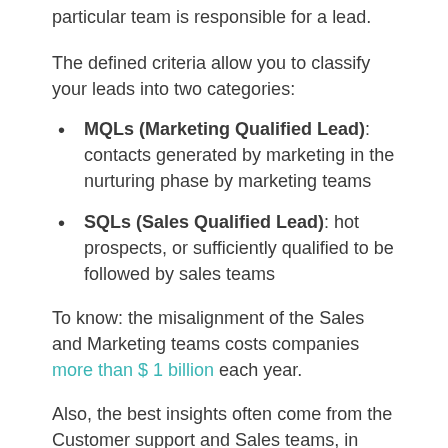particular team is responsible for a lead.
The defined criteria allow you to classify your leads into two categories:
MQLs (Marketing Qualified Lead): contacts generated by marketing in the nurturing phase by marketing teams
SQLs (Sales Qualified Lead): hot prospects, or sufficiently qualified to be followed by sales teams
To know: the misalignment of the Sales and Marketing teams costs companies more than $ 1 billion each year.
Also, the best insights often come from the Customer support and Sales teams, in direct contact with your prospects and customers. Their issues and needs may change. To update the knowledge of your personas